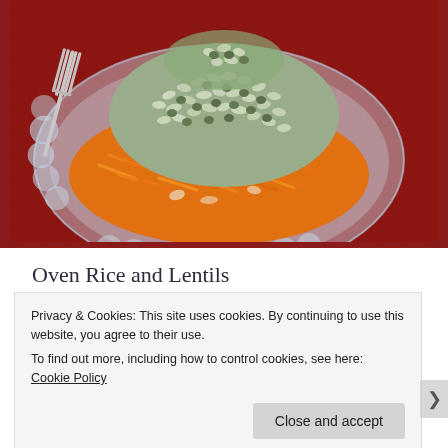[Figure (photo): A glass plate with shredded orange carrots on the bottom and a mound of cooked rice and green lentils on top, served on a red tablecloth with a fork visible on the left side.]
Oven Rice and Lentils
Privacy & Cookies: This site uses cookies. By continuing to use this website, you agree to their use.
To find out more, including how to control cookies, see here: Cookie Policy
Close and accept